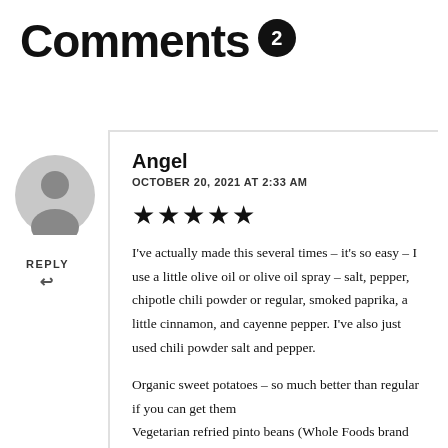Comments 2
[Figure (illustration): Generic user avatar — grey circle with silhouette of a person (head and shoulders)]
REPLY ↩
Angel
OCTOBER 20, 2021 AT 2:33 AM
★★★★★
I've actually made this several times – it's so easy – I use a little olive oil or olive oil spray – salt, pepper, chipotle chili powder or regular, smoked paprika, a little cinnamon, and cayenne pepper. I've also just used chili powder salt and pepper.

Organic sweet potatoes – so much better than regular if you can get them
Vegetarian refried pinto beans (Whole Foods brand very good)